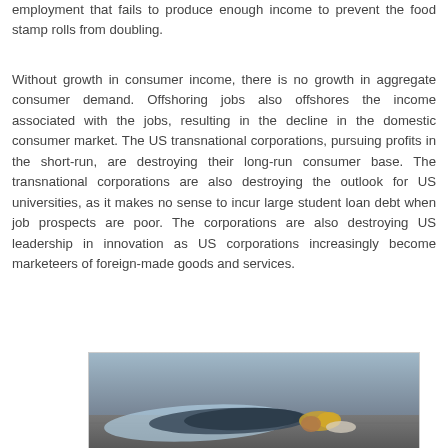employment that fails to produce enough income to prevent the food stamp rolls from doubling.
Without growth in consumer income, there is no growth in aggregate consumer demand. Offshoring jobs also offshores the income associated with the jobs, resulting in the decline in the domestic consumer market. The US transnational corporations, pursuing profits in the short-run, are destroying their long-run consumer base. The transnational corporations are also destroying the outlook for US universities, as it makes no sense to incur large student loan debt when job prospects are poor. The corporations are also destroying US leadership in innovation as US corporations increasingly become marketeers of foreign-made goods and services.
[Figure (photo): A person lying on the street or sidewalk, wrapped in a plastic bag or tarp, appearing to be homeless, with yellow/orange fabric visible near their head.]